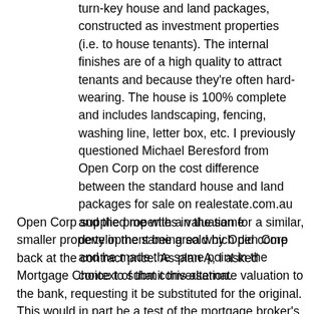turn-key house and land packages, constructed as investment properties (i.e. to house tenants). The internal finishes are of a high quality to attract tenants and because they're often hard-wearing. The house is 100% complete and includes landscaping, fencing, washing line, letter box, etc. I previously questioned Michael Beresford from Open Corp on the cost difference between the standard house and land packages for sale on realestate.com.au and the properties in the same development being sold by Open Corp and he made the same point in the context of that conversation.
Open Corp supplied me with a valuation for a similar, smaller property in the same area which did come back at the contract price. As plan A, I asked Mortgage Choice to submit this alternate valuation to the bank, requesting it be substituted for the original. This would in part be a test of the mortgage broker's relationship with the bank but would more likely come down to the individual personalities at the bank's end—more subjectivity—and in conjunction with whatever